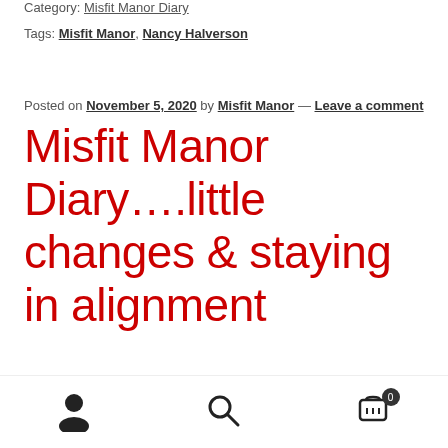Category: Misfit Manor Diary
Tags: Misfit Manor, Nancy Halverson
Posted on November 5, 2020 by Misfit Manor — Leave a comment
Misfit Manor Diary….little changes & staying in alignment
[Figure (photo): Banner image with text 'Early Holiday Shopper Sale!' on a light textured background]
Navigation icons: user profile, search, shopping cart (0)